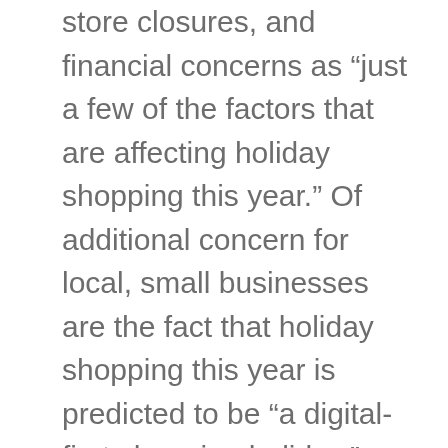store closures, and financial concerns as “just a few of the factors that are affecting holiday shopping this year.” Of additional concern for local, small businesses are the fact that holiday shopping this year is predicted to be “a digital-first shopping holiday.”

Due to the increase in online shopping, shipping times are delayed. Just another reason why shopping local,